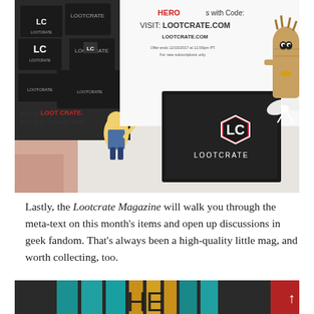[Figure (photo): Photo of Lootcrate promotional materials: black Lootcrate boxes with logo, a Groot figurine with a white bow, a Fallout Vault Boy figurine, and text reading 'VISIT: LOOTCRATE.COM', 'Offer ends 12/15/2017 at 11:59pm PT. For new subscriptions only.' and partial text 'year of LOOT CRATE. gear they actually want.']
Lastly, the Lootcrate Magazine will walk you through the meta-text on this month's items and open up discussions in geek fandom. That's always been a high-quality little mag, and worth collecting, too.
[Figure (photo): Partial photo showing colorful striped fabric/packaging with teal, gold, and black colors, and what appears to be a logo or text partially visible.]